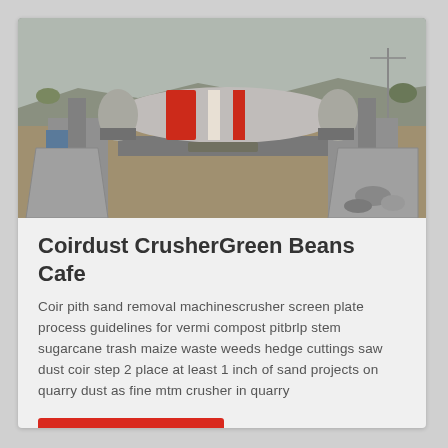[Figure (photo): Outdoor industrial quarry/mining facility showing a large cylindrical ball mill or rotary drum mounted on a concrete structure, with conveyor belts and crushed rock aggregate visible in concrete hoppers below, overcast sky in background.]
Coirdust CrusherGreen Beans Cafe
Coir pith sand removal machinescrusher screen plate process guidelines for vermi compost pitbrlp stem sugarcane trash maize waste weeds hedge cuttings saw dust coir step 2 place at least 1 inch of sand projects on quarry dust as fine mtm crusher in quarry
Dapatkan Harga